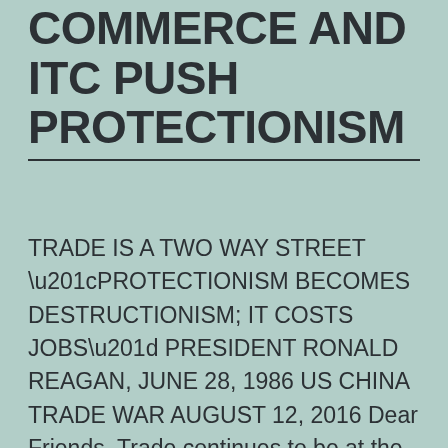COMMERCE AND ITC PUSH PROTECTIONISM
TRADE IS A TWO WAY STREET “PROTECTIONISM BECOMES DESTRUCTIONISM; IT COSTS JOBS” PRESIDENT RONALD REAGAN, JUNE 28, 1986 US CHINA TRADE WAR AUGUST 12, 2016 Dear Friends, Trade continues to be at the center of the Presidential primary with a possible passage of the Trans Pacific Partnership during the Lame Duck Session. The blog post… Continue reading